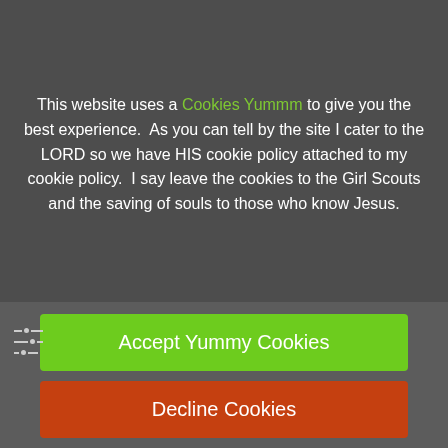This website uses a Cookies Yummm to give you the best experience.  As you can tell by the site I cater to the LORD so we have HIS cookie policy attached to my cookie policy.  I say leave the cookies to the Girl Scouts and the saving of souls to those who know Jesus.
[Figure (other): Green 'Accept Yummy Cookies' button and red 'Decline Cookies' button with a sliders/settings icon to the left]
FROM: http://www.jewishvirtuallibrary.org/organizationid=odessa-se-members-odessa
Some war criminals from Odessa (Germany) who took on new identities, managing to get themselves smuggle out of Germany and to its destination, the chess at the end of...